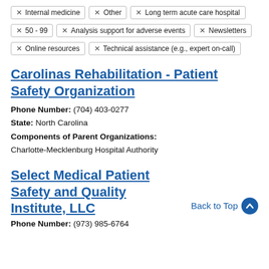Internal medicine
Other
Long term acute care hospital
50 - 99
Analysis support for adverse events
Newsletters
Online resources
Technical assistance (e.g., expert on-call)
Carolinas Rehabilitation - Patient Safety Organization
Phone Number: (704) 403-0277
State: North Carolina
Components of Parent Organizations:
Charlotte-Mecklenburg Hospital Authority
Select Medical Patient Safety and Quality Institute, LLC
Phone Number: (973) 985-6764